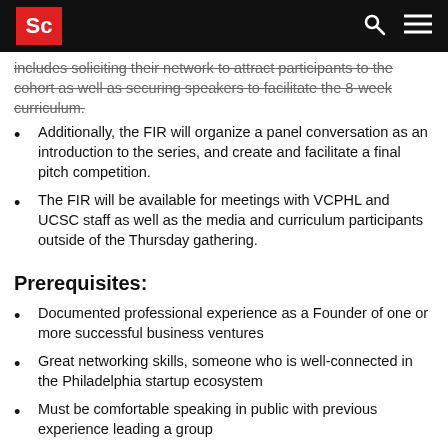Sc
includes soliciting their network to attract participants to the cohort as well as securing speakers to facilitate the 8-week curriculum.
Additionally, the FIR will organize a panel conversation as an introduction to the series, and create and facilitate a final pitch competition.
The FIR will be available for meetings with VCPHL and UCSC staff as well as the media and curriculum participants outside of the Thursday gathering.
Prerequisites:
Documented professional experience as a Founder of one or more successful business ventures
Great networking skills, someone who is well-connected in the Philadelphia startup ecosystem
Must be comfortable speaking in public with previous experience leading a group